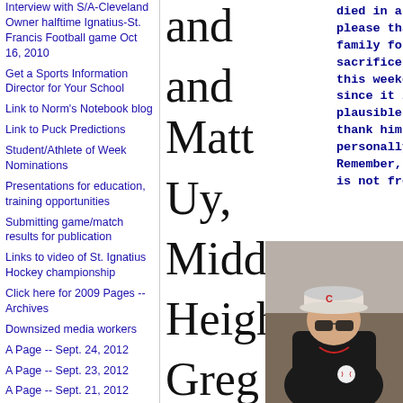Interview with S/A-Cleveland Owner halftime Ignatius-St. Francis Football game Oct 16, 2010
Get a Sports Information Director for Your School
Link to Norm's Notebook blog
Link to Puck Predictions
Student/Athlete of Week Nominations
Presentations for education, training opportunities
Submitting game/match results for publication
Links to video of St. Ignatius Hockey championship
Click here for 2009 Pages -- Archives
Downsized media workers
A Page -- Sept. 24, 2012
A Page -- Sept. 23, 2012
A Page -- Sept. 21, 2012
A Page -- Sept. 20, 2012
A Page -- Sept. 17, 2012
and Matt Uy, Middleburg Heights' Greg Gibbons, Berkshire' Brian
died in a war, please thank that family for his sacrifices on this weekend since it is not plausible to thank him personally. Remember, freedom is not free.
[Figure (photo): A young man wearing sunglasses and a baseball cap, holding a baseball, dressed in a dark jacket with what appears to be a sports uniform.]